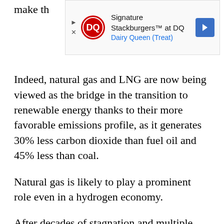make th
[Figure (other): Dairy Queen advertisement banner showing DQ logo, 'Signature Stackburgers™ at DQ' text, 'Dairy Queen (Treat)' subtext, and a blue directional arrow icon]
Indeed, natural gas and LNG are now being viewed as the bridge in the transition to renewable energy thanks to their more favorable emissions profile, as it generates 30% less carbon dioxide than fuel oil and 45% less than coal.
Natural gas is likely to play a prominent role even in a hydrogen economy.
After decades of stagnation and multiple false dawns, the hydrogen economy is finally taking off with some experts predicting that hydrogen could become a globally-traded energy source, just like oil and gas. A growing number of countries and industries are proactively investing in hydrogen technologies; none, however, can rival the EU's zeal.
The European Union has set out its new hydrogen strategy as part of its goal to achieve carbon neutrality for all its